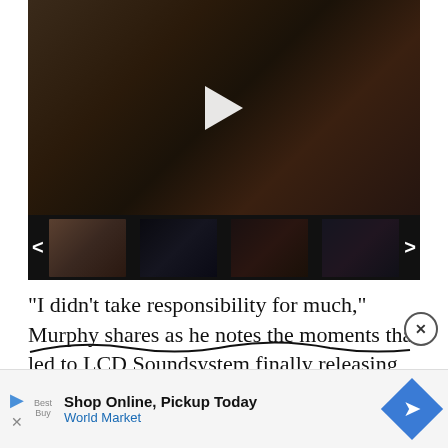[Figure (screenshot): Video player showing a concert/music performance with a dark thumbnail. Below the main video area is a strip of four thumbnail images of different music performers. Navigation arrows on left and right sides of the thumbnail strip.]
“I didn’t take responsibility for much,” Murphy shares as he notes the moments that led to LCD Soundsystem finally releasing their debut single. “I just felt bad for myself and wondered why my life wasn’t better and stuff like that. Then, when I was about 26, li…
[Figure (screenshot): Advertisement banner: Shop Online, Pickup Today - World Market. Shows play button icon, Best Buy logo area, text, and a blue diamond/arrow logo.]